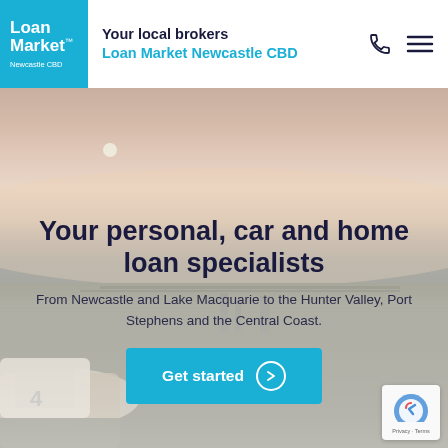Your local brokers
Loan Market Newcastle CBD
[Figure (photo): Hero background photo of a beach/coastal scene at dusk or dawn with warm pink and peach sky tones, sandy ground, and industrial/coastal structures in the foreground]
Your personal, car and home loan specialists
From Newcastle and Lake Macquarie to the Hunter Valley, Port Stephens and the Central Coast.
Get started